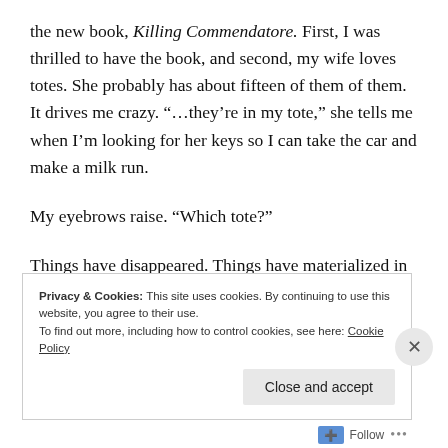the new book, Killing Commendatore. First, I was thrilled to have the book, and second, my wife loves totes. She probably has about fifteen of them of them. It drives me crazy. “…they’re in my tote,” she tells me when I’m looking for her keys so I can take the car and make a milk run.
My eyebrows raise. “Which tote?”
Things have disappeared. Things have materialized in those totes. Trust me.
Privacy & Cookies: This site uses cookies. By continuing to use this website, you agree to their use.
To find out more, including how to control cookies, see here: Cookie Policy